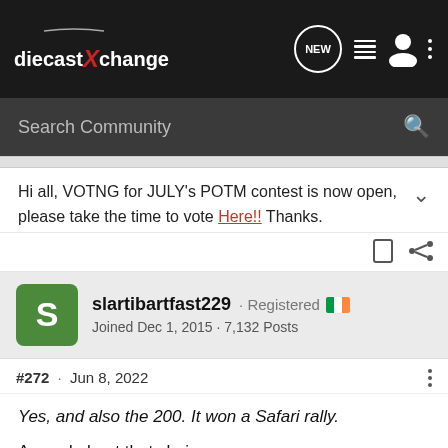diecastXchange [nav bar with NEW, list, user, dots icons]
Search Community
Hi all, VOTNG for JULY's POTM contest is now open, please take the time to vote Here!! Thanks.
slartibartfast229 · Registered [IE flag] Joined Dec 1, 2015 · 7,132 Posts
#272 · Jun 8, 2022
Yes, and also the 200. It won a Safari rally.
Agreed about that choice.
And I doubt even Spark would tackle it, even in a niche area of